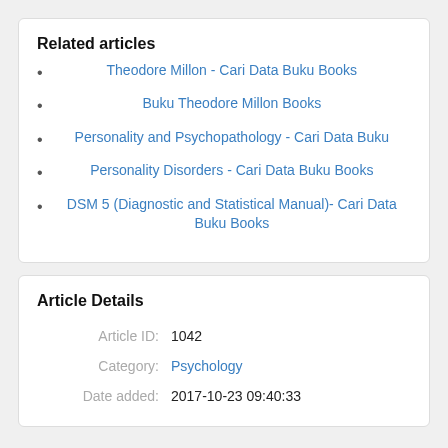Related articles
Theodore Millon - Cari Data Buku Books
Buku Theodore Millon Books
Personality and Psychopathology - Cari Data Buku
Personality Disorders - Cari Data Buku Books
DSM 5 (Diagnostic and Statistical Manual)- Cari Data Buku Books
Article Details
| Article ID: | 1042 |
| Category: | Psychology |
| Date added: | 2017-10-23 09:40:33 |